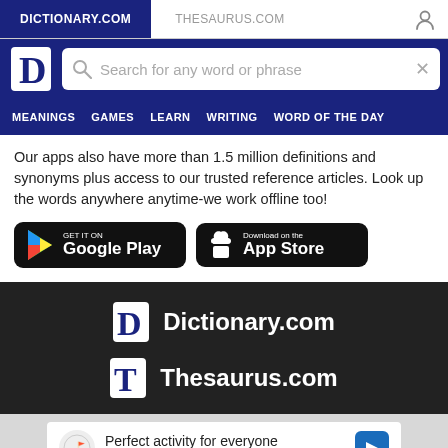DICTIONARY.COM | THESAURUS.COM
[Figure (screenshot): Website header with logo, search bar reading 'Search for any word or phrase', and navigation menu with MEANINGS, GAMES, LEARN, WRITING, WORD OF THE DAY]
Our apps also have more than 1.5 million definitions and synonyms plus access to our trusted reference articles. Look up the words anywhere anytime-we work offline too!
[Figure (other): Google Play and App Store download buttons]
[Figure (logo): Dictionary.com and Thesaurus.com logos on dark background]
[Figure (other): Advertisement: Perfect activity for everyone - Topgolf]